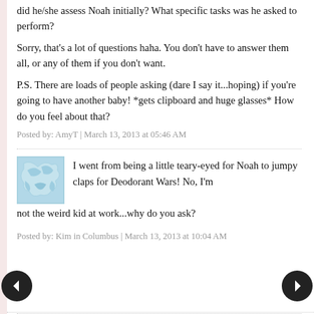did he/she assess Noah initially? What specific tasks was he asked to perform?
Sorry, that's a lot of questions haha. You don't have to answer them all, or any of them if you don't want.
P.S. There are loads of people asking (dare I say it...hoping) if you're going to have another baby! *gets clipboard and huge glasses* How do you feel about that?
Posted by: AmyT | March 13, 2013 at 05:46 AM
I went from being a little teary-eyed for Noah to jumpy claps for Deodorant Wars! No, I'm not the weird kid at work...why do you ask?
Posted by: Kim in Columbus | March 13, 2013 at 10:04 AM